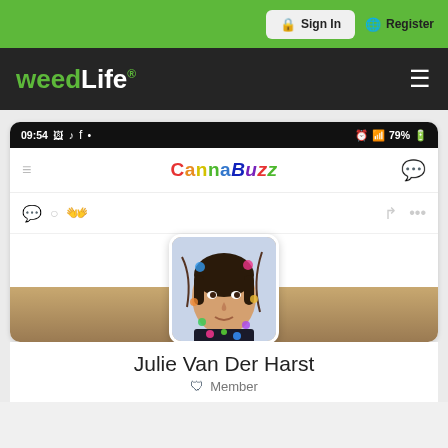Sign In   Register
weedLife®
[Figure (screenshot): Screenshot of CannaBuzz mobile app showing a user profile page for Julie Van Der Harst with a status bar showing 09:54 and 79% battery, the CannaBuzz logo header, post action icons, and a profile photo of a woman with decorative flower stickers]
Julie Van Der Harst
Member